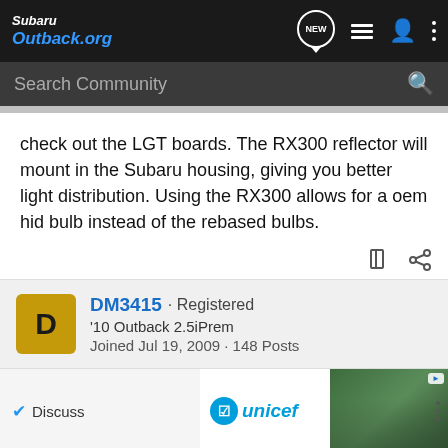SubaruOutback.org — navigation bar with search
check out the LGT boards. The RX300 reflector will mount in the Subaru housing, giving you better light distribution. Using the RX300 allows for a oem hid bulb instead of the rebased bulbs.
DM3415 · Registered
'10 Outback 2.5iPrem
Joined Jul 19, 2009 · 148 Posts
Discuss